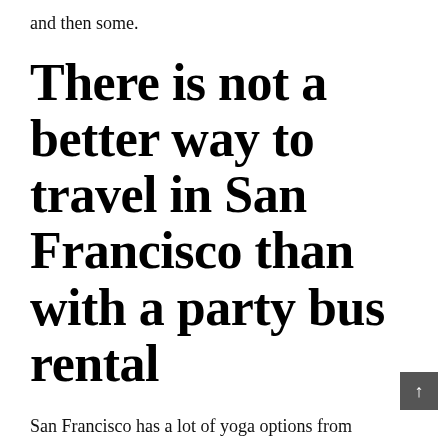and then some.
There is not a better way to travel in San Francisco than with a party bus rental
San Francisco has a lot of yoga options from beginners to professionals and everything in between. There is no better way to spend a day than yoga class while you explore San Francisco's beautiful Presidio Park. With a San Francisco limo